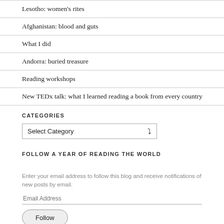Lesotho: women's rites
Afghanistan: blood and guts
What I did
Andorra: buried treasure
Reading workshops
New TEDx talk: what I learned reading a book from every country
CATEGORIES
Select Category
FOLLOW A YEAR OF READING THE WORLD
Enter your email address to follow this blog and receive notifications of new posts by email.
Email Address
Follow